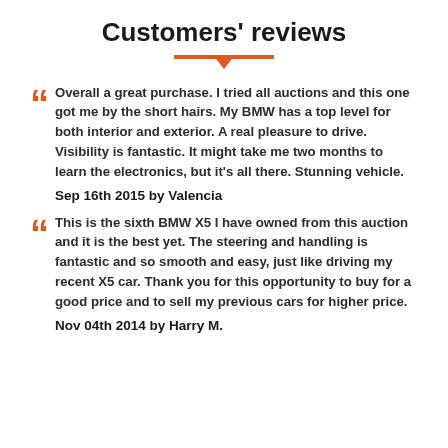Customers' reviews
Overall a great purchase. I tried all auctions and this one got me by the short hairs. My BMW has a top level for both interior and exterior. A real pleasure to drive. Visibility is fantastic. It might take me two months to learn the electronics, but it's all there. Stunning vehicle.
Sep 16th 2015 by Valencia
This is the sixth BMW X5 I have owned from this auction and it is the best yet. The steering and handling is fantastic and so smooth and easy, just like driving my recent X5 car. Thank you for this opportunity to buy for a good price and to sell my previous cars for higher price.
Nov 04th 2014 by Harry M.